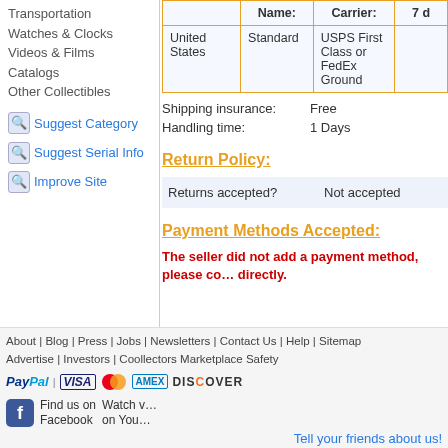Transportation
Watches & Clocks
Videos & Films
Catalogs
Other Collectibles
Suggest Category
Suggest Serial Info
Improve Site
|  | Name: | Carrier: | Delivery Time: |
| --- | --- | --- | --- |
| United States | Standard | USPS First Class or FedEx Ground | 7 d... |
Shipping insurance: Free
Handling time: 1 Days
Return Policy:
Returns accepted? Not accepted
Payment Methods Accepted:
The seller did not add a payment method, please co... directly.
About | Blog | Press | Jobs | Newsletters | Contact Us | Help | Sitemap
Advertise | Investors | Coollectors Marketplace Safety
PayPal VISA [MC] [AMEX] DISCOVER
Find us on Facebook   Watch v... on You...
Tell your friends about us!